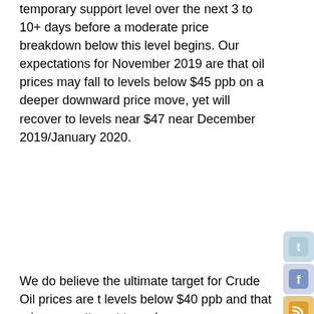temporary support level over the next 3 to 10+ days before a moderate price breakdown below this level begins. Our expectations for November 2019 are that oil prices may fall to levels below $45 ppb on a deeper downward price move, yet will recover to levels near $47 near December 2019/January 2020.
We do believe the ultimate target for Crude Oil prices are to levels below $40 ppb and that price may attempt to make a